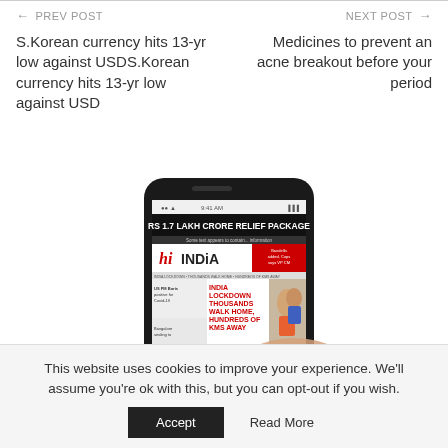PREV POST   NEXT POST
S.Korean currency hits 13-yr low against USDS.Korean currency hits 13-yr low against USD
Medicines to prevent an acne breakout before your period
[Figure (photo): A hand holding a smartphone displaying the 'hi INDiA' newspaper app with headline 'RS 1.7 LAKH CRORE RELIEF PACKAGE' and subheader 'INDIA LOCKDOWN THOUSANDS WALK HOME, HUNDREDS OF KMS AWAY']
This website uses cookies to improve your experience. We'll assume you're ok with this, but you can opt-out if you wish.
Accept   Read More